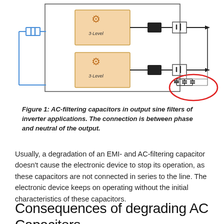[Figure (engineering-diagram): Schematic diagram showing AC-filtering capacitors in output sine filters of an inverter. Two 3-Level inverter blocks (peach/orange colored) with gear icons are connected to inductors (black rectangles) and then to battery/capacitor symbols (boxed). A red oval highlights three capacitors in parallel connected between phase and neutral of the output. A small blue component on the left represents an input capacitor. Horizontal arrows indicate output lines.]
Figure 1: AC-filtering capacitors in output sine filters of inverter applications. The connection is between phase and neutral of the output.
Usually, a degradation of an EMI- and AC-filtering capacitor doesn't cause the electronic device to stop its operation, as these capacitors are not connected in series to the line. The electronic device keeps on operating without the initial characteristics of these capacitors.
Consequences of degrading AC Capacitors